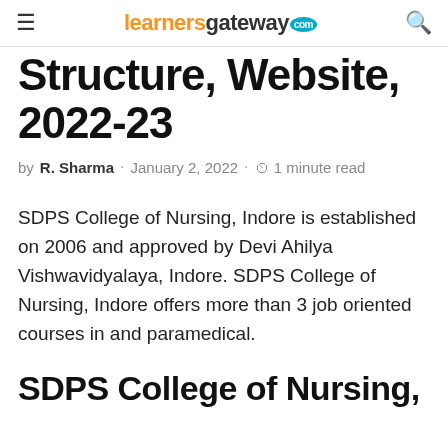learnersgateway.com
Structure, Website, 2022-23
by R. Sharma · January 2, 2022 · 1 minute read
SDPS College of Nursing, Indore is established on 2006 and approved by Devi Ahilya Vishwavidyalaya, Indore. SDPS College of Nursing, Indore offers more than 3 job oriented courses in and paramedical.
SDPS College of Nursing,